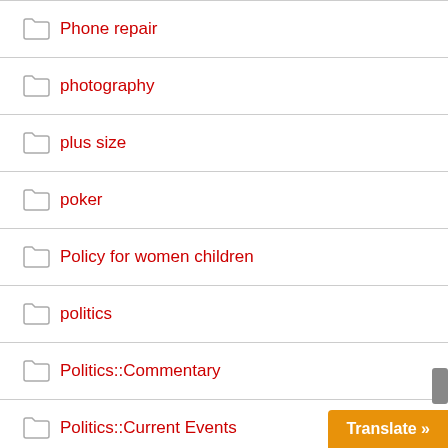Phone repair
photography
plus size
poker
Policy for women children
politics
Politics::Commentary
Politics::Current Events
PoliticsCommentary
popular diets